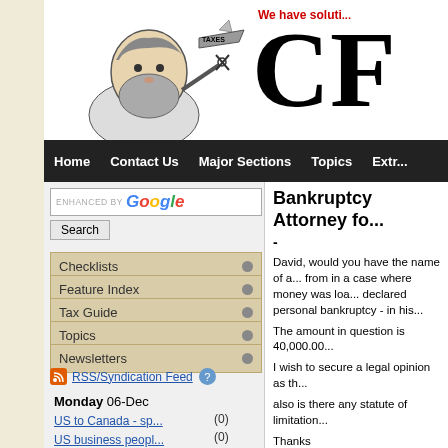[Figure (illustration): Caricature illustration of a bearded man holding scissors cutting a tiny airplane labeled TAXES, website header graphic]
We have soluti... CF...
Home | Contact Us | Major Sections | Topics | Extr...
ENHANCED BY Google Search
Checklists
Feature Index
Tax Guide
Topics
Newsletters
RSS/Syndication Feed
Monday 06-Dec
US to Canada - sp... (0)
US business peopl... (0)
nexus pass at air... (0)
Bankruptcy Attorney fo...
-
David, would you have the name of a... from in a case where money was loa... declared personal bankruptcy - in his...
The amount in question is 40,000.00...
I wish to secure a legal opinion as th...
also is there any statute of limitation...
Thanks
---------------------------------------------
david ingram replies:
The best I know is a one man prac...